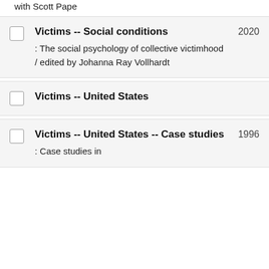with Scott Pape
Victims -- Social conditions 2020 : The social psychology of collective victimhood / edited by Johanna Ray Vollhardt
Victims -- United States
Victims -- United States -- Case studies 1996 : Case studies in